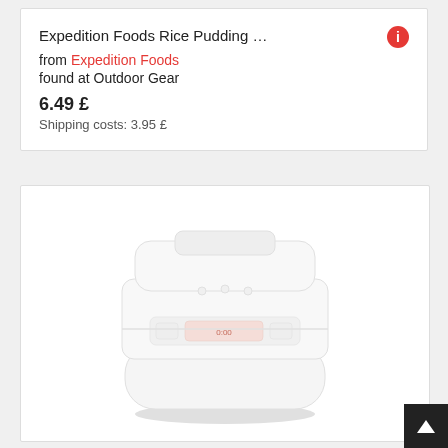Expedition Foods Rice Pudding … from Expedition Foods found at Outdoor Gear 6.49 £ Shipping costs: 3.95 £
[Figure (photo): White compact rice cooker with digital display and controls, viewed from a slight angle above]